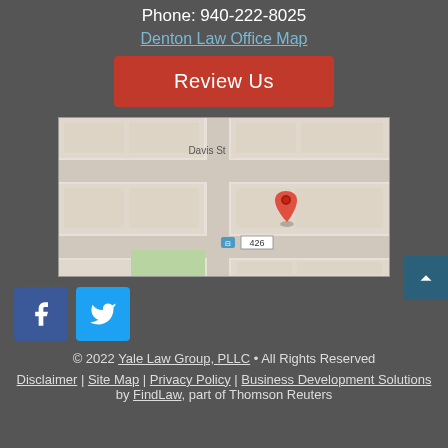Phone: 940-222-8025
Denton Law Office Map
[Figure (other): Red 'Review Us' button]
[Figure (map): Google map showing location near Davis St with red pin marker and address 426]
[Figure (other): Social media icons: Facebook (blue square with f) and Twitter (blue square with bird)]
© 2022 Yale Law Group, PLLC • All Rights Reserved
Disclaimer | Site Map | Privacy Policy | Business Development Solutions by FindLaw, part of Thomson Reuters